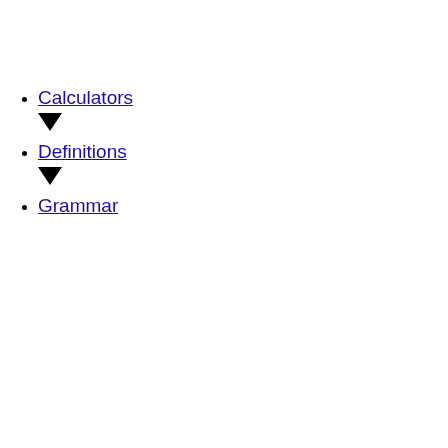Calculators
Definitions
Grammar